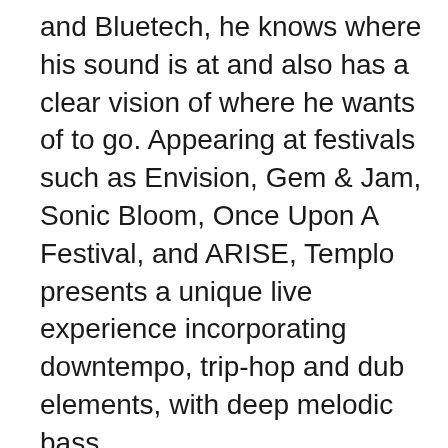and Bluetech, he knows where his sound is at and also has a clear vision of where he wants of to go. Appearing at festivals such as Envision, Gem & Jam, Sonic Bloom, Once Upon A Festival, and ARISE, Templo presents a unique live experience incorporating downtempo, trip-hop and dub elements, with deep melodic bass.